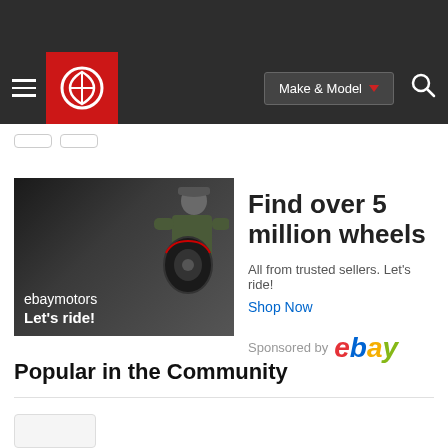[Figure (screenshot): Dark navigation bar with hamburger menu, red circular logo (Edmunds), Make & Model dropdown button, and search icon]
[Figure (photo): Sponsored eBay Motors advertisement showing a man holding a car wheel/tire with text 'ebaymotors Let's ride!']
Find over 5 million wheels
All from trusted sellers. Let's ride!
Shop Now
Sponsored by ebay
Popular in the Community